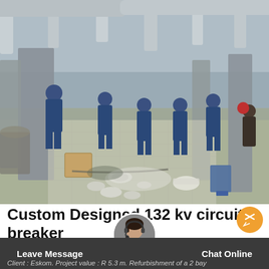[Figure (photo): Workers in blue coveralls servicing 132kv circuit breakers at an electrical substation. Several technicians are working on equipment, with tools, gaskets and parts spread on the ground in the foreground.]
Custom Designed 132 kv circuit breaker Africa
Client : Eskom. Project value : R 5.3 m. Refurbishment of a 2 bay